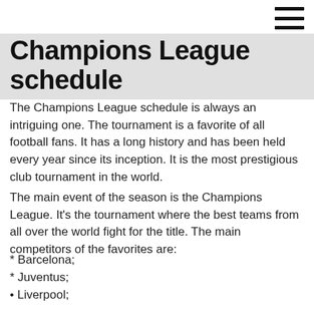Champions League schedule
The Champions League schedule is always an intriguing one. The tournament is a favorite of all football fans. It has a long history and has been held every year since its inception. It is the most prestigious club tournament in the world.
The main event of the season is the Champions League. It's the tournament where the best teams from all over the world fight for the title. The main competitors of the favorites are:
* Barcelona;
* Juventus;
• Liverpool;
“Manchester United”;
and “Barcelona”.